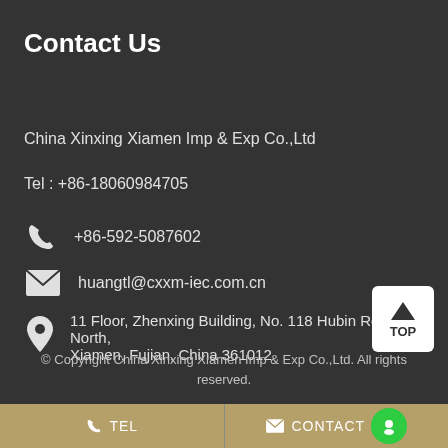Contact Us
China Xinxing Xiamen Imp & Exp Co.,Ltd
Tel : +86-18060984705
+86-592-5087602
huangtl@cxxm-iec.com.cn
11 Floor, Zhenxing Building, No. 118 Hubin Road North, Xiamen, Fujian, China 361012
© Copyright China Xinxing Xiamen Imp & Exp Co.,Ltd. All rights reserved.
TEL   CONTACT